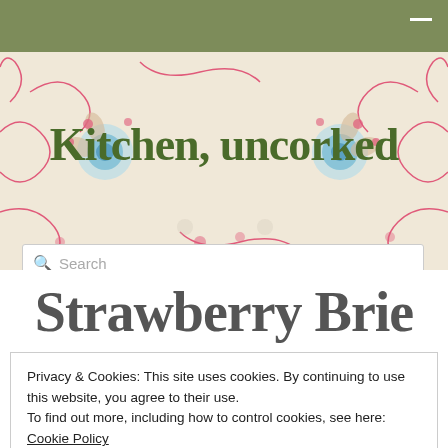Kitchen, uncorked
[Figure (illustration): Floral decorative banner background with swirling pink vines and teal/blue ornamental flowers on a cream/beige background]
Strawberry Brie
Privacy & Cookies: This site uses cookies. By continuing to use this website, you agree to their use.
To find out more, including how to control cookies, see here: Cookie Policy
Close and accept
smoothie I was having for breakfast. I love the flavour of